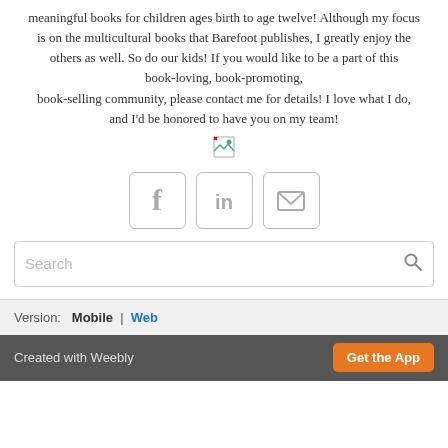meaningful books for children ages birth to age twelve!  Although my focus is on the multicultural books that Barefoot publishes, I greatly enjoy the others as well.  So do our kids!  If you would like to be a part of this book-loving, book-promoting, book-selling community, please contact me for details!  I love what I do, and I'd be honored to have you on my team!
[Figure (illustration): Small broken image icon]
[Figure (infographic): Three social media icon buttons: Facebook (f), LinkedIn (in), and Email (envelope)]
[Figure (other): Search bar with placeholder text 'Search' and a magnifying glass icon]
Version:  Mobile  |  Web
Created with Weebly   Get the App